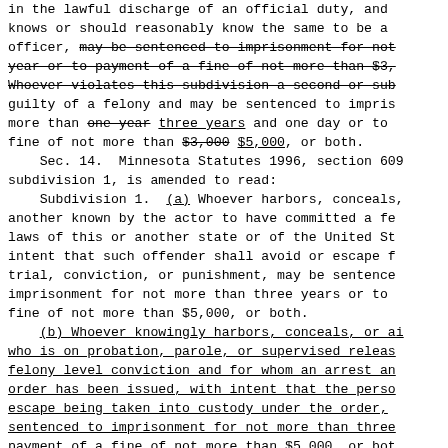in the lawful discharge of an official duty, and knows or should reasonably know the same to be a officer, may be sentenced to imprisonment for not year or to payment of a fine of not more than $3, Whoever violates this subdivision a second or sub guilty of a felony and may be sentenced to impris more than one year three years and one day or to fine of not more than $3,000 $5,000, or both.
    Sec. 14.  Minnesota Statutes 1996, section 609 subdivision 1, is amended to read:
    Subdivision 1.  (a) Whoever harbors, conceals, another known by the actor to have committed a fe laws of this or another state or of the United St intent that such offender shall avoid or escape f trial, conviction, or punishment, may be sentence imprisonment for not more than three years or to fine of not more than $5,000, or both.
    (b) Whoever knowingly harbors, conceals, or ai who is on probation, parole, or supervised releas felony level conviction and for whom an arrest an order has been issued, with intent that the perso escape being taken into custody under the order, sentenced to imprisonment for not more than three payment of a fine of not more than $5,000, or bot this paragraph, "arrest and detention order" mean